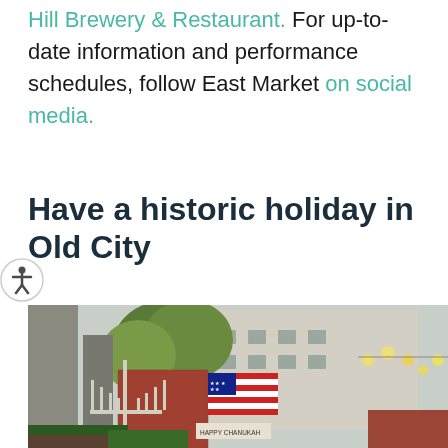Hill Brewery & Restaurant. For up-to-date information and performance schedules, follow East Market on social media.
Have a historic holiday in Old City
[Figure (photo): Outdoor street scene in Old City during the holiday season. A large menorah is in the foreground, an American flag hangs on a brick building in the background, and holiday light decorations are visible. Trees with autumn foliage are in the scene. A sign reads 'Happy Chanukah'.]